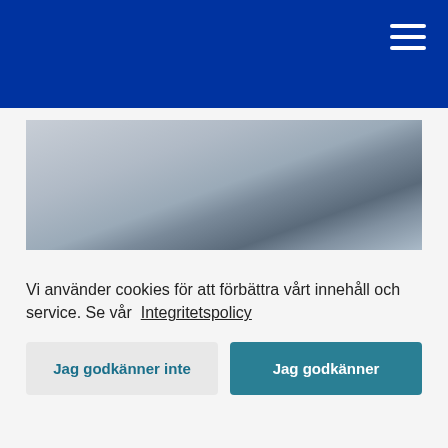Navigation menu header with hamburger icon
[Figure (photo): Close-up photo of a rock or stone on sand/grey surface, blurred background]
Vi använder cookies för att förbättra vårt innehåll och service. Se vår  Integritetspolicy
Jag godkänner inte
Jag godkänner